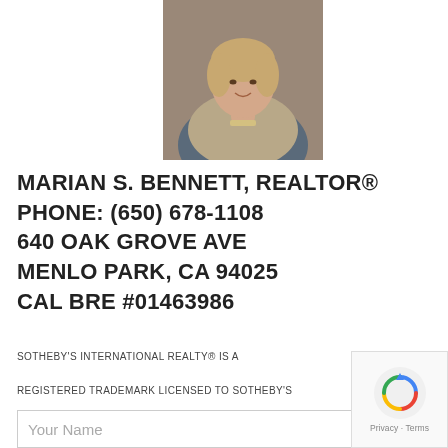[Figure (photo): Headshot photo of Marian S. Bennett, a woman wearing a blazer and scarf with a necklace]
MARIAN S. BENNETT, REALTOR®
PHONE: (650) 678-1108
640 OAK GROVE AVE
MENLO PARK, CA 94025
CAL BRE #01463986
SOTHEBY'S INTERNATIONAL REALTY® IS A REGISTERED TRADEMARK LICENSED TO SOTHEBY'S INTERNATIONAL REALTY AFFILIATES LLC. EACH OFFICE IS INDEPENDENTLY OWNED AND OPERATED.
Your Name